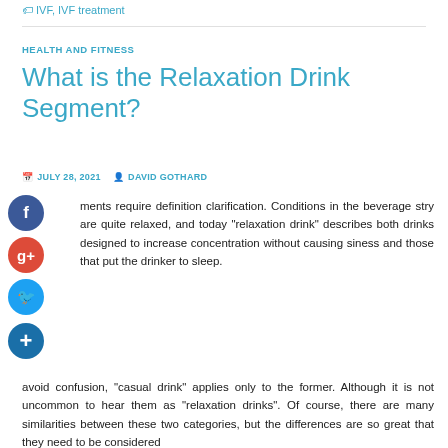IVF, IVF treatment
HEALTH AND FITNESS
What is the Relaxation Drink Segment?
JULY 28, 2021   DAVID GOTHARD
ments require definition clarification. Conditions in the beverage stry are quite relaxed, and today "relaxation drink" describes both drinks designed to increase concentration without causing siness and those that put the drinker to sleep.
avoid confusion, "casual drink" applies only to the former. Although it is not uncommon to hear them as "relaxation drinks". Of course, there are many similarities between these two categories, but the differences are so great that they need to be considered